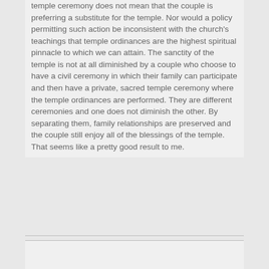temple ceremony does not mean that the couple is preferring a substitute for the temple. Nor would a policy permitting such action be inconsistent with the church's teachings that temple ordinances are the highest spiritual pinnacle to which we can attain. The sanctity of the temple is not at all diminished by a couple who choose to have a civil ceremony in which their family can participate and then have a private, sacred temple ceremony where the temple ordinances are performed. They are different ceremonies and one does not diminish the other. By separating them, family relationships are preserved and the couple still enjoy all of the blessings of the temple. That seems like a pretty good result to me.